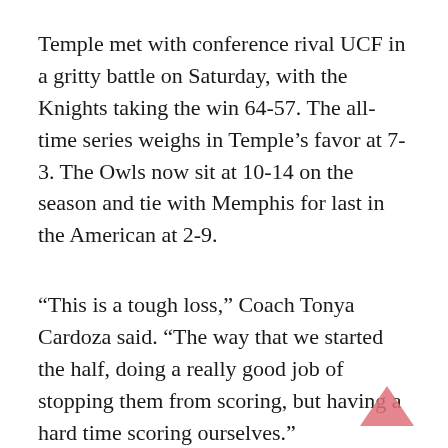Temple met with conference rival UCF in a gritty battle on Saturday, with the Knights taking the win 64-57. The all-time series weighs in Temple's favor at 7-3. The Owls now sit at 10-14 on the season and tie with Memphis for last in the American at 2-9.
“This is a tough loss,” Coach Tonya Cardoza said. “The way that we started the half, doing a really good job of stopping them from scoring, but having a hard time scoring ourselves.”
From the get-go, this was a defensive game. UCF’s full-court presses hindered the Owls’ chances of scoring opportunities, forcing them to rely on defensive rebounds and fast breaks. It took 2:16 for points to go on the board, with freshman guard Emani Mayo sinking